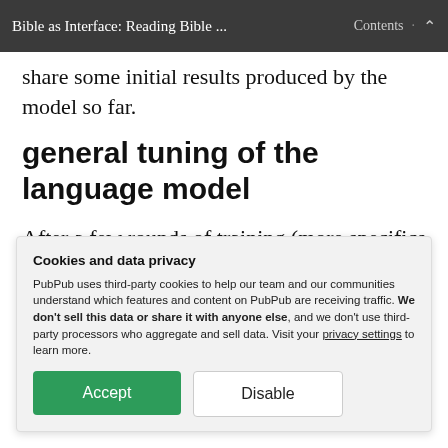Bible as Interface: Reading Bible ... Contents
share some initial results produced by the model so far.
general tuning of the language model
After a few rounds of training (more specifics to come on exact durations and
Cookies and data privacy
PubPub uses third-party cookies to help our team and our communities understand which features and content on PubPub are receiving traffic. We don't sell this data or share it with anyone else, and we don't use third-party processors who aggregate and sell data. Visit your privacy settings to learn more.
Accept  Disable